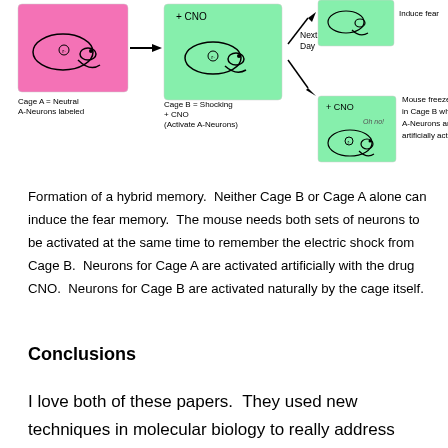[Figure (schematic): Experimental diagram showing hybrid memory formation in mice. Cage A (pink) with neutral A-Neurons labeled mouse, arrow to Cage B (green) + CNO = Shocking + CNO (Activate A-Neurons). Next Day arrow splits: top to green cage inducing fear, bottom to green cage + CNO showing mouse freezes in Cage B when A-Neurons are artificially activated.]
Formation of a hybrid memory.  Neither Cage B or Cage A alone can induce the fear memory.  The mouse needs both sets of neurons to be activated at the same time to remember the electric shock from Cage B.  Neurons for Cage A are activated artificially with the drug CNO.  Neurons for Cage B are activated naturally by the cage itself.
Conclusions
I love both of these papers.  They used new techniques in molecular biology to really address